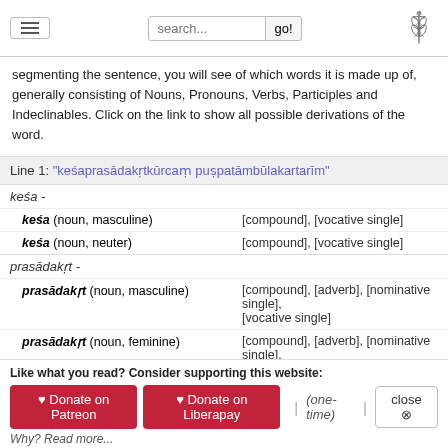search... go!
segmenting the sentence, you will see of which words it is made up of, generally consisting of Nouns, Pronouns, Verbs, Participles and Indeclinables. Click on the link to show all possible derivations of the word.
Line 1: “keśaprasādakrṛtkūrcam puṣpatāmbūlakatarīm”
| Word | Grammar |
| --- | --- |
| keśa - |  |
| keśa (noun, masculine) | [compound], [vocative single] |
| keśa (noun, neuter) | [compound], [vocative single] |
| prasādakrṛt - |  |
| prasādakrṛt (noun, masculine) | [compound], [adverb], [nominative single], [vocative single] |
| prasādakrṛt (noun, feminine) | [compound], [adverb], [nominative single], [vocative single] |
| prasādakrṛt (noun, neuter) | [compound], [adverb], [nominative single], [vocative single], [accusative single] |
| kūrcam - |  |
Like what you read? Consider supporting this website: Donate on Patreon | Donate on Liberapay | (one-time) | close. Why? Read more...